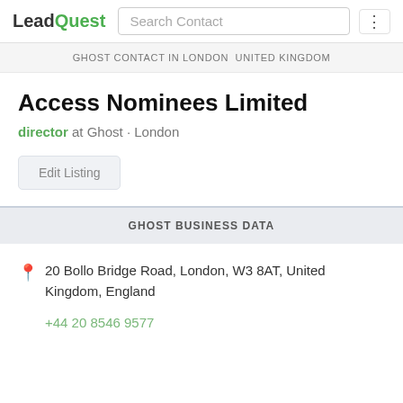LeadQuest | Search Contact
GHOST CONTACT IN LONDON  UNITED KINGDOM
Access Nominees Limited
director at Ghost · London
Edit Listing
GHOST BUSINESS DATA
20 Bollo Bridge Road, London, W3 8AT, United Kingdom, England
+44 20 8546 9577